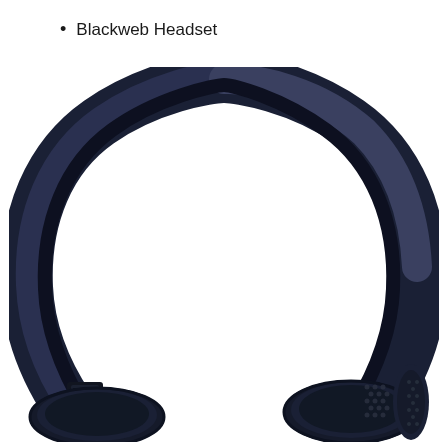Blackweb Headset
[Figure (photo): Close-up photo of a Blackweb over-ear headset in dark navy/black color, showing the headband arc and ear cups with speaker grille dots, on a white background.]